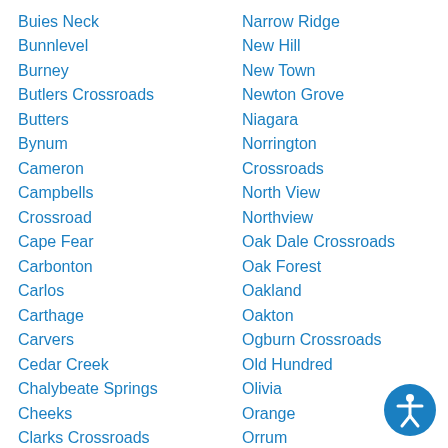Buies Neck
Bunnlevel
Burney
Butlers Crossroads
Butters
Bynum
Cameron
Campbells Crossroad
Cape Fear
Carbonton
Carlos
Carthage
Carvers
Cedar Creek
Chalybeate Springs
Cheeks
Clarks Crossroads
Clarkton
Narrow Ridge
New Hill
New Town
Newton Grove
Niagara
Norrington Crossroads
North View
Northview
Oak Dale Crossroads
Oak Forest
Oakland
Oakton
Ogburn Crossroads
Old Hundred
Olivia
Orange
Orrum
Osgood